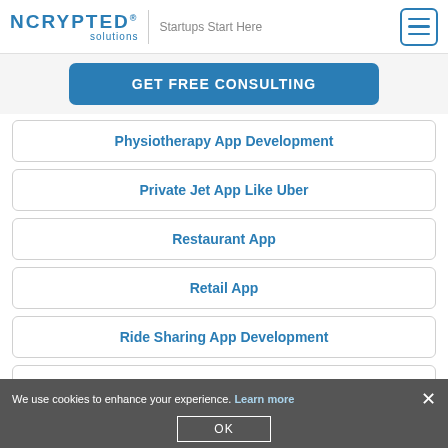NCRYPTeD solutions® | Startups Start Here
GET FREE CONSULTING
Physiotherapy App Development
Private Jet App Like Uber
Restaurant App
Retail App
Ride Sharing App Development
Security Guard App
Snow Plow App
We use cookies to enhance your experience. Learn more × OK